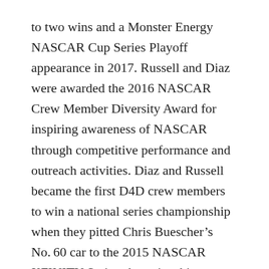to two wins and a Monster Energy NASCAR Cup Series Playoff appearance in 2017. Russell and Diaz were awarded the 2016 NASCAR Crew Member Diversity Award for inspiring awareness of NASCAR through competitive performance and outreach activities. Diaz and Russell became the first D4D crew members to win a national series championship when they pitted Chris Buescher's No. 60 car to the 2015 NASCAR XFINITY Series championship. Additionally, Diaz was named to NBC's Pit Crew All-Star team in 2017.
Roush Fenway also promoted the NASCAR Diversity program in fielding graduate Darrell Wallace Jr. in the No. 6 Mustang during the 2015-2017 seas... The team worked with Wallace and NASCAR Diversity to